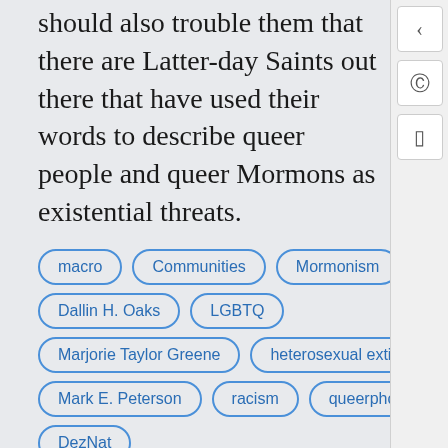should also trouble them that there are Latter-day Saints out there that have used their words to describe queer people and queer Mormons as existential threats.
macro
Communities
Mormonism
Dallin H. Oaks
LGBTQ
Marjorie Taylor Greene
heterosexual extinction
Mark E. Peterson
racism
queerphobia
DezNat
Church of Jesus Christ of Latter-day Saints
research
Ezra Taft Benson